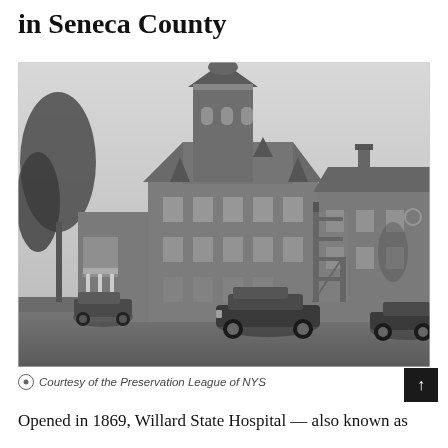in Seneca County
[Figure (photo): Black and white photograph of Willard State Hospital, a large Victorian brick building with a prominent octagonal tower, fire escape stairs on the exterior, and vintage cars (circa 1940s) parked in front on a dirt road.]
Courtesy of the Preservation League of NYS
Opened in 1869, Willard State Hospital — also known as